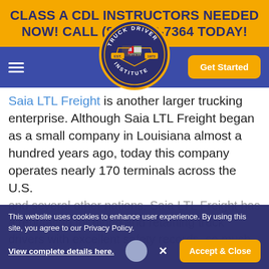CLASS A CDL INSTRUCTORS NEEDED NOW! CALL (800) 848-7364 TODAY!
[Figure (logo): Truck Driver Institute circular logo with truck illustration, EST. 1973]
Saia LTL Freight is another larger trucking enterprise. Although Saia LTL Freight began as a small company in Louisiana almost a hundred years ago, today this company operates nearly 170 terminals across the U.S.
and several other nations. Saia LTL Freight has a reputation for hiring and retaining truck drivers with excellent safety records, so much
This website uses cookies to enhance user experience. By using this site, you agree to our Privacy Policy.
View complete details here.    Accept & Close